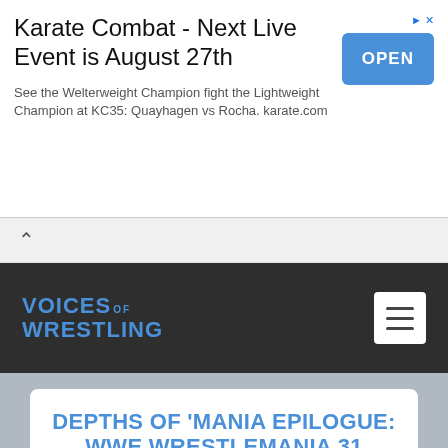[Figure (screenshot): Advertisement banner for Karate Combat with title, subtitle, and blue OPEN button]
Karate Combat - Next Live Event is August 27th
See the Welterweight Champion fight the Lightweight Champion at KC35: Quayhagen vs Rocha. karate.com
VOICES OF WRESTLING
DEPTHS OF 'MANIA EPILOGUE: WWE WRESTLEMANIA 31 REVIEW
Posted by Bryan Rose | Apr 1, 2015 | Featured, Reviews, WrestleMania Weekend 2015, WWE